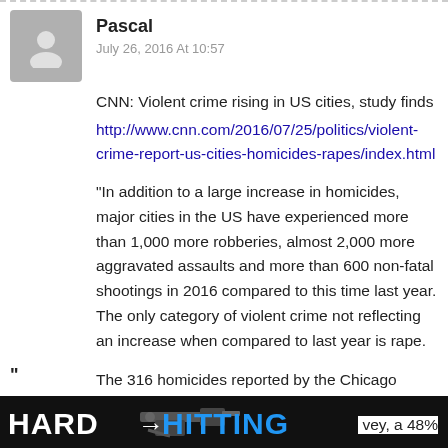Pascal
July 26, 2016 At 10:57
CNN: Violent crime rising in US cities, study finds
http://www.cnn.com/2016/07/25/politics/violent-crime-report-us-cities-homicides-rapes/index.html
“In addition to a large increase in homicides, major cities in the US have experienced more than 1,000 more robberies, almost 2,000 more aggravated assaults and more than 600 non-fatal shootings in 2016 compared to this time last year. The only category of violent crime not reflecting an increase when compared to last year is rape.
The 316 homicides reported by the Chicago Police Department were by far the most of any law
[Figure (photo): HARD HITTING banner/logo image with gun graphic]
vey, a 48%